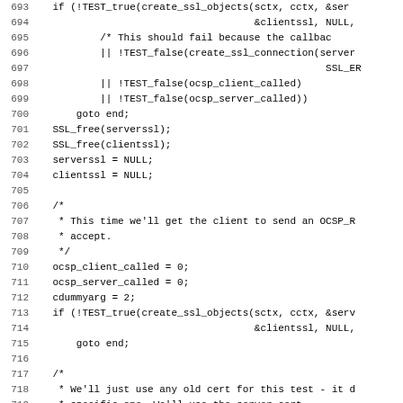[Figure (screenshot): Source code listing showing C code lines 693–724, monospace font on white background with line numbers on the left.]